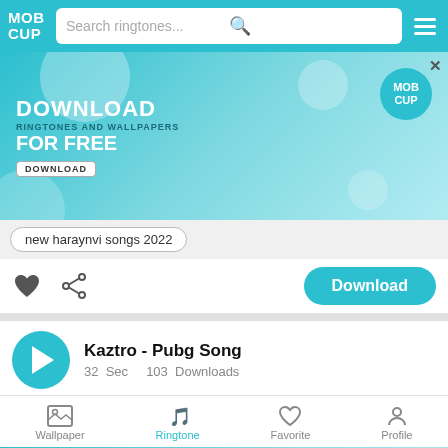MOB CUP — Search ringtones...
[Figure (screenshot): MobCup app advertisement banner: DOWNLOAD RINGTONES AND WALLPAPERS FOR FREE with a DOWNLOAD button and MobCup logo]
new haraynvi songs 2022
[Figure (infographic): Heart favorite icon and share icon on left, Download button on right]
Kaztro - Pubg Song
32 Sec   103 Downloads
[Figure (screenshot): MobCup app advertisement banner at bottom: DOWNLOAD RINGTONES AND WALLPAPERS FOR FREE]
Wallpaper   Ringtone   Favorite   Profile